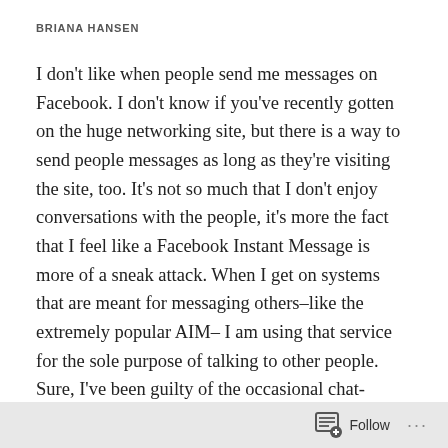BRIANA HANSEN
I don't like when people send me messages on Facebook. I don't know if you've recently gotten on the huge networking site, but there is a way to send people messages as long as they're visiting the site, too. It's not so much that I don't enjoy conversations with the people, it's more the fact that I feel like a Facebook Instant Message is more of a sneak attack. When I get on systems that are meant for messaging others–like the extremely popular AIM– I am using that service for the sole purpose of talking to other people. Sure, I've been guilty of the occasional chat-ignore or pretending that I'm busy and can't talk when really I don't want to talk to certain people, but for the most part if I
Follow ...